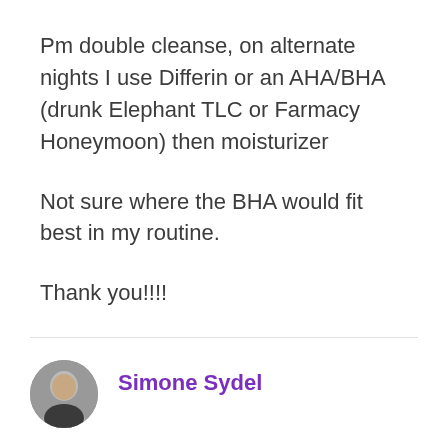Pm double cleanse, on alternate nights I use Differin or an AHA/BHA (drunk Elephant TLC or Farmacy Honeymoon) then moisturizer

Not sure where the BHA would fit best in my routine.

Thank you!!!!
Reply
Simone Sydel